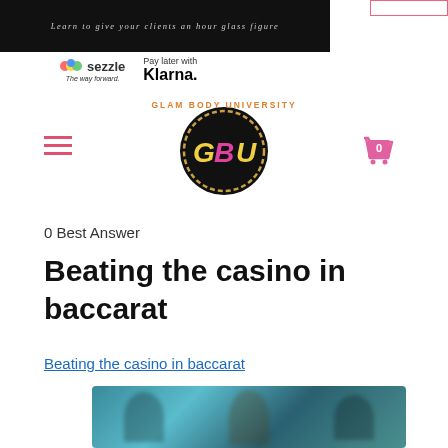Learn to give your clients an hour glass figure
[Figure (logo): Sezzle logo and Klarna pay later logos side by side]
[Figure (logo): Glam Body University circular logo with GBU letters and hamburger menu and cart icon]
0 Best Answer
Beating the casino in baccarat
Beating the casino in baccarat
[Figure (photo): Blurred photo of people at casino, teal/green background]